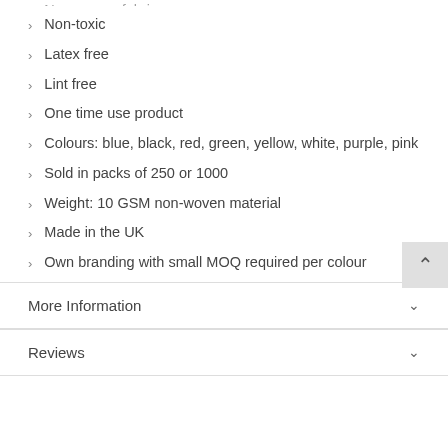Non-woven fabric
Non-toxic
Latex free
Lint free
One time use product
Colours: blue, black, red, green, yellow, white, purple, pink
Sold in packs of 250 or 1000
Weight: 10 GSM non-woven material
Made in the UK
Own branding with small MOQ required per colour
More Information
Reviews